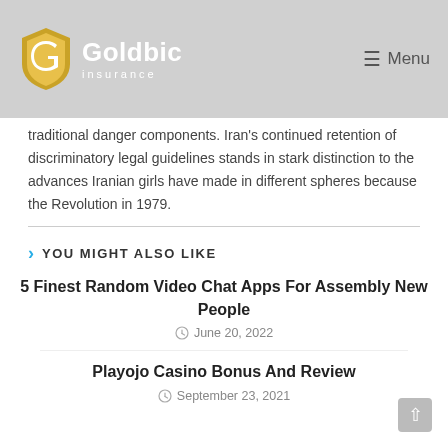Goldbic Insurance — Menu
traditional danger components. Iran's continued retention of discriminatory legal guidelines stands in stark distinction to the advances Iranian girls have made in different spheres because the Revolution in 1979.
YOU MIGHT ALSO LIKE
5 Finest Random Video Chat Apps For Assembly New People
June 20, 2022
Playojo Casino Bonus And Review
September 23, 2021